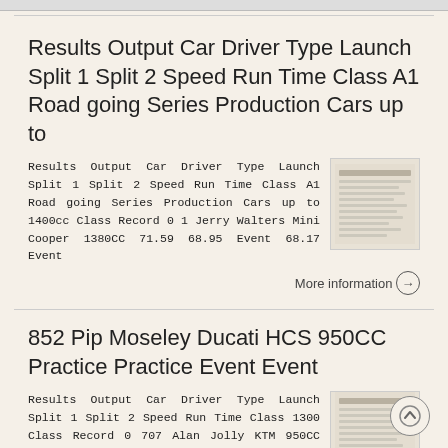Results Output Car Driver Type Launch Split 1 Split 2 Speed Run Time Class A1 Road going Series Production Cars up to
Results Output Car Driver Type Launch Split 1 Split 2 Speed Run Time Class A1 Road going Series Production Cars up to 1400cc Class Record 0 1 Jerry Walters Mini Cooper 1380CC 71.59 68.95 Event 68.17 Event
[Figure (table-as-image): Thumbnail of a results table with small text rows]
More information →
852 Pip Moseley Ducati HCS 950CC Practice Practice Event Event
Results Output Car Driver Type Launch Split 1 Split 2 Speed Run Time Class 1300 Class Record 0 707 Alan Jolly KTM 950CC Practice 2.27 28.61 Practice 27.88 Event 2.12 26.91 Event 2.18 26.80 852 Pip Moseley
[Figure (table-as-image): Thumbnail of a results table with small text rows]